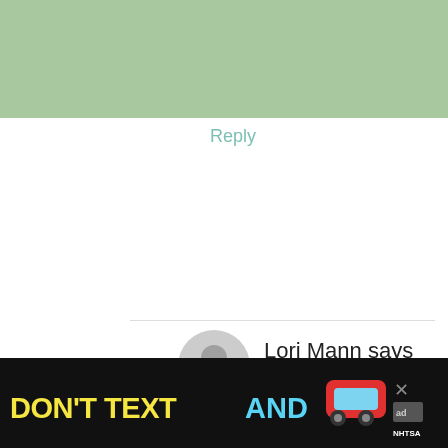[Figure (screenshot): Green header banner at top of page]
Reply
Lori Mann says
August 4, 2020 at 7:55 am
Can this recipe brrrrr be frozen.
Thank you
Reply
[Figure (screenshot): Ad banner at bottom: DON'T TEXT AND with car emoji and NHTSA logo]